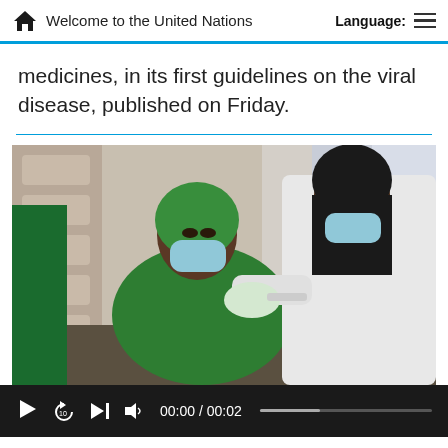Welcome to the United Nations
medicines, in its first guidelines on the viral disease, published on Friday.
[Figure (photo): A healthcare worker wearing a white coat, black hijab, and blue face mask administers a vaccine injection to a seated elderly woman wearing a green headscarf and blue face mask. Both are indoors.]
00:00 / 00:02